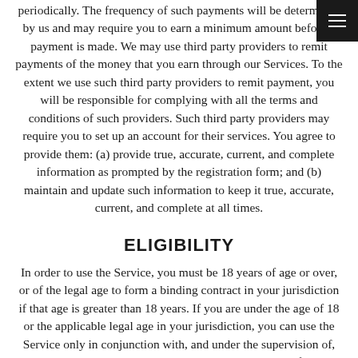periodically. The frequency of such payments will be determined by us and may require you to earn a minimum amount before a payment is made. We may use third party providers to remit payments of the money that you earn through our Services. To the extent we use such third party providers to remit payment, you will be responsible for complying with all the terms and conditions of such providers. Such third party providers may require you to set up an account for their services. You agree to provide them: (a) provide true, accurate, current, and complete information as prompted by the registration form; and (b) maintain and update such information to keep it true, accurate, current, and complete at all times.
ELIGIBILITY
In order to use the Service, you must be 18 years of age or over, or of the legal age to form a binding contract in your jurisdiction if that age is greater than 18 years. If you are under the age of 18 or the applicable legal age in your jurisdiction, you can use the Service only in conjunction with, and under the supervision of, your parent or guardian who has agreed to these Terms of Service on your behalf.